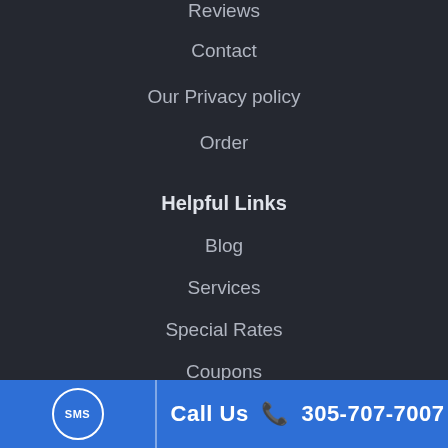Reviews
Contact
Our Privacy policy
Order
Helpful Links
Blog
Services
Special Rates
Coupons
Claims
Sitemap
Call Us 305-707-7007